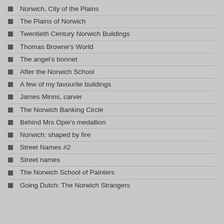Norwich, City of the Plains
The Plains of Norwich
Twentieth Century Norwich Buildings
Thomas Browne's World
The angel's bonnet
After the Norwich School
A few of my favourite buildings
James Minns, carver
The Norwich Banking Circle
Behind Mrs Opie's medallion
Norwich: shaped by fire
Street Names #2
Street names
The Norwich School of Painters
Going Dutch: The Norwich Strangers